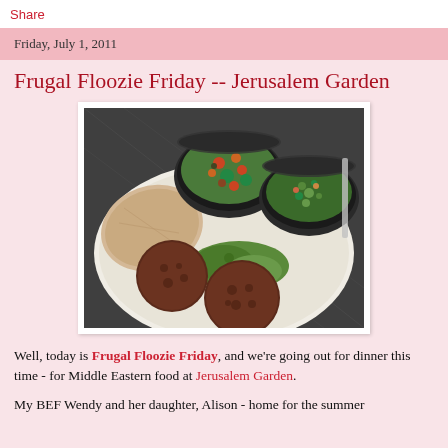Share
Friday, July 1, 2011
Frugal Floozie Friday -- Jerusalem Garden
[Figure (photo): A plate of Middle Eastern food featuring two falafel balls, pita bread, lettuce garnish, and two bowls of salads (one appears to be a mixed vegetable salad, the other tabbouleh), on a white plate with a dark mesh table background.]
Well, today is Frugal Floozie Friday, and we're going out for dinner this time - for Middle Eastern food at Jerusalem Garden.
My BEF Wendy and her daughter, Alison - home for the summer